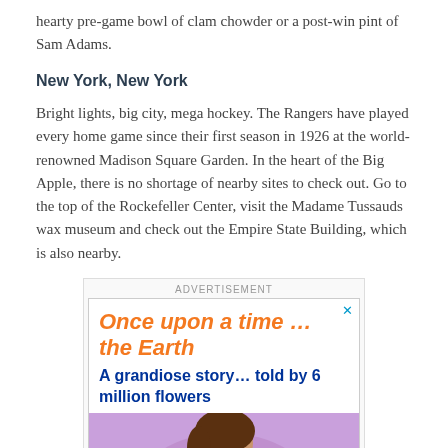hearty pre-game bowl of clam chowder or a post-win pint of Sam Adams.
New York, New York
Bright lights, big city, mega hockey. The Rangers have played every home game since their first season in 1926 at the world-renowned Madison Square Garden. In the heart of the Big Apple, there is no shortage of nearby sites to check out. Go to the top of the Rockefeller Center, visit the Madame Tussauds wax museum and check out the Empire State Building, which is also nearby.
[Figure (other): Advertisement banner: 'Once upon a time... the Earth — A grandiose story... told by 6 million flowers' with an illustration of a woman's face against a purple background.]